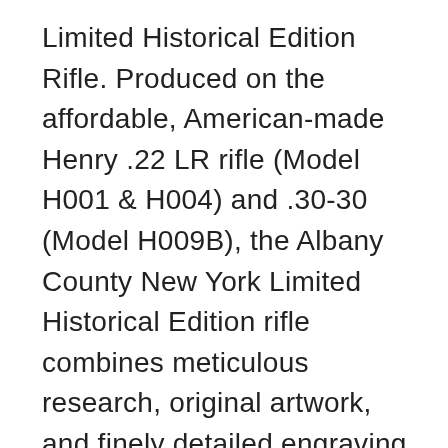Limited Historical Edition Rifle. Produced on the affordable, American-made Henry .22 LR rifle (Model H001 & H004) and .30-30 (Model H009B), the Albany County New York Limited Historical Edition rifle combines meticulous research, original artwork, and finely detailed engraving to celebrate the history of Albany County. There will only be 50 Albany County New York rifle sets ever produced by Historical Armory. Purchase each model separately or all available rifle models together for a complete limited edition set.